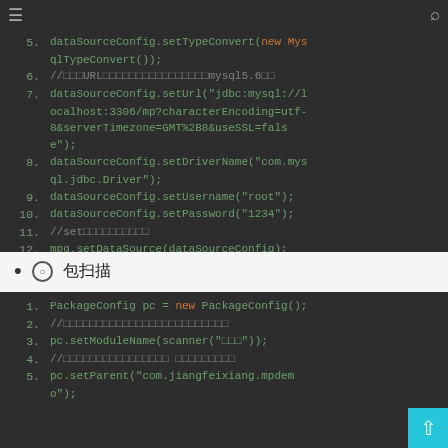[Figure (screenshot): Code block showing lines 5-12 of Java configuration code with dark theme IDE styling. Lines include dataSourceConfig.setTypeConvert, setUrl with JDBC MySQL URL, setDriverName, setUsername, setPassword, and mpg.setDataSource calls.]
⊙ 包扫描
[Figure (screenshot): Code block showing lines 1-5 of Java PackageConfig setup with dark theme IDE styling. Lines include PackageConfig pc = new PackageConfig(), comments in Chinese, pc.setModuleName, and pc.setParent calls.]